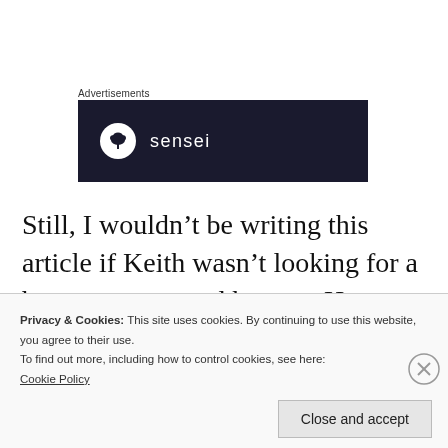Advertisements
[Figure (logo): Sensei advertisement banner: dark navy background with a circular white icon containing a tree/bonsai silhouette and the word 'sensei' in white lowercase text]
Still, I wouldn’t be writing this article if Keith wasn’t looking for a better answer, and he was: He wanted to bring a bit more attitude
Privacy & Cookies: This site uses cookies. By continuing to use this website, you agree to their use.
To find out more, including how to control cookies, see here:
Cookie Policy
Close and accept